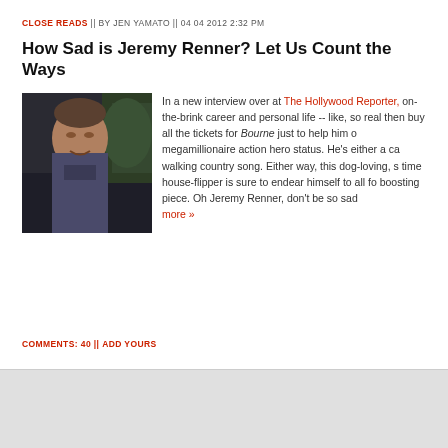CLOSE READS || BY JEN YAMATO || 04 04 2012 2:32 PM
How Sad is Jeremy Renner? Let Us Count the Ways
[Figure (photo): Photo of Jeremy Renner, a man with short hair wearing a dark jacket, with greenery in the background]
In a new interview over at The Hollywood Reporter, on-the-brink career and personal life -- like, so real then buy all the tickets for Bourne just to help him o megamillionaire action hero status. He's either a ca walking country song. Either way, this dog-loving, s time house-flipper is sure to endear himself to all fo boosting piece. Oh Jeremy Renner, don't be so sad more »
COMMENTS: 40 || ADD YOURS